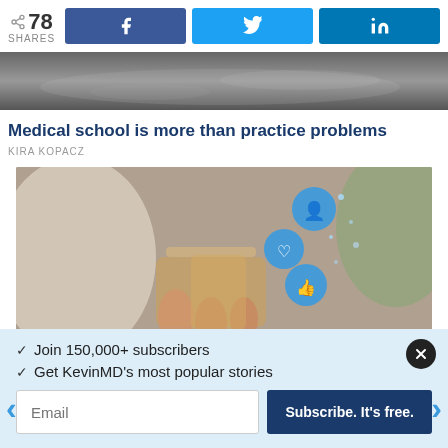78 SHARES | Facebook share | Twitter share | LinkedIn share
[Figure (photo): Ultrasound or medical imaging scan, black and white, cropped at top]
Medical school is more than practice problems
KIRA KOPACZ
[Figure (photo): Person holding a smartphone with social media notification icons floating above it]
✓  Join 150,000+ subscribers
✓  Get KevinMD's most popular stories
Email | Subscribe. It's free.